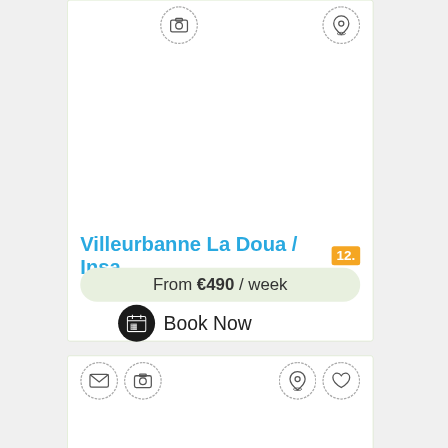[Figure (screenshot): Top listing card showing camera and location pin icons at top, with title 'Villeurbanne La Doua / Insa' with orange badge '12.', price bar 'From €490 / week', and 'Book Now' button with calendar icon]
Villeurbanne La Doua / Insa 12.
From €490 / week
Book Now
[Figure (screenshot): Bottom listing card showing email, camera, location pin, and heart icons along the top edge, with empty white content area below]